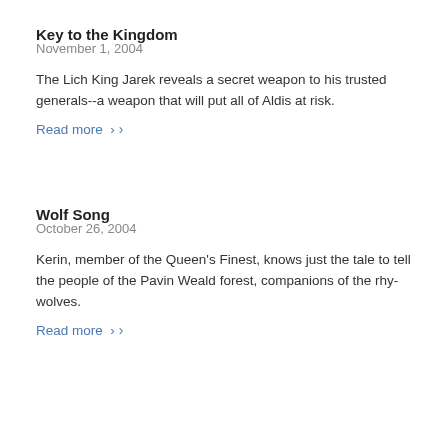Key to the Kingdom
November 1, 2004
The Lich King Jarek reveals a secret weapon to his trusted generals--a weapon that will put all of Aldis at risk.
Read more >
Wolf Song
October 26, 2004
Kerin, member of the Queen's Finest, knows just the tale to tell the people of the Pavin Weald forest, companions of the rhy-wolves.
Read more >